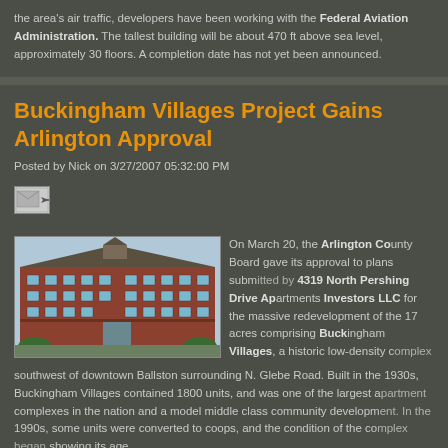the area's air traffic, developers have been working with the Federal Aviation Administration. The tallest building will be about 470 ft above sea level, approximately 30 floors. A completion date has not yet been announced.
Buckingham Villages Project Gains Arlington Approval
Posted by Nick on 3/27/2007 05:32:00 PM
[Figure (photo): Architectural rendering of a large red brick multi-story apartment building with many windows and a central tower feature, surrounded by trees.]
On March 20, the Arlington County Board gave its approval to plans submitted by 4319 North Pershing Drive Apartments Investors LLC for the massive redevelopment of the 17 acres comprising Buckingham Villages, a historic low-density complex southwest of downtown Ballston surrounding N. Glebe Road. Built in the 1930s, Buckingham Villages contained 1800 units, and was one of the largest apartment complexes in the nation and a model middle class community development. In the 1990s, some units were converted to coops, and the condition of the complex began showing its age.